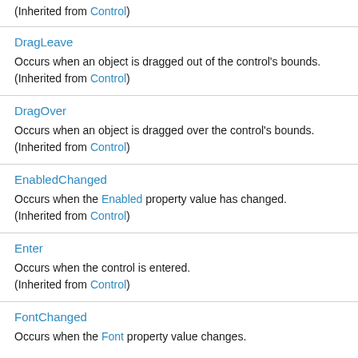(Inherited from Control)
DragLeave
Occurs when an object is dragged out of the control's bounds.
(Inherited from Control)
DragOver
Occurs when an object is dragged over the control's bounds.
(Inherited from Control)
EnabledChanged
Occurs when the Enabled property value has changed.
(Inherited from Control)
Enter
Occurs when the control is entered.
(Inherited from Control)
FontChanged
Occurs when the Font property value changes.